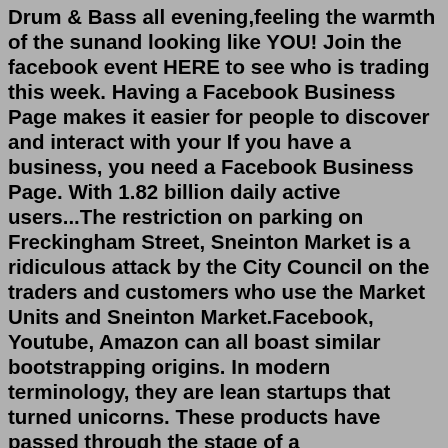Drum & Bass all evening,feeling the warmth of the sunand looking like YOU! Join the facebook event HERE to see who is trading this week. Having a Facebook Business Page makes it easier for people to discover and interact with your If you have a business, you need a Facebook Business Page. With 1.82 billion daily active users...The restriction on parking on Freckingham Street, Sneinton Market is a ridiculous attack by the City Council on the traders and customers who use the Market Units and Sneinton Market.Facebook, Youtube, Amazon can all boast similar bootstrapping origins. In modern terminology, they are lean startups that turned unicorns. These products have passed through the stage of a minimum...Sneinton Market NG1 1DW Nottingham, Reino Unido We are Sneinton Market Avenues; Nottingham's home for independent business' and creative studios. A 3.125 personas les gusta esto 3.300 personas siguen esto 1.393 personas registraron una visita aquí http://www.sneintonmarketavenues.com/ +44 115 710